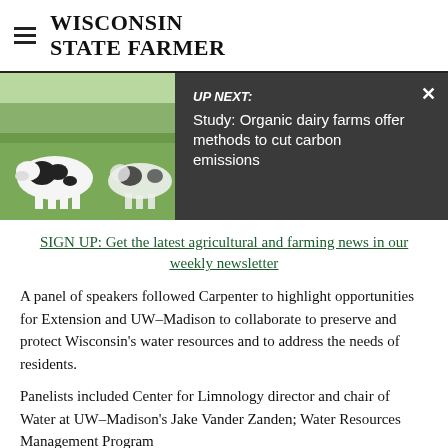WISCONSIN STATE FARMER
[Figure (photo): Black and white dairy cows standing in a green field on a sunny day]
UP NEXT: Study: Organic dairy farms offer methods to cut carbon emissions
SIGN UP: Get the latest agricultural and farming news in our weekly newsletter
A panel of speakers followed Carpenter to highlight opportunities for Extension and UW–Madison to collaborate to preserve and protect Wisconsin's water resources and to address the needs of residents.
Panelists included Center for Limnology director and chair of Water at UW–Madison's Jake Vander Zanden; Water Resources Management Program